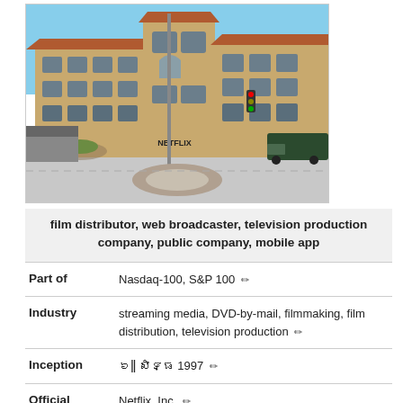[Figure (photo): Exterior photograph of the Netflix headquarters building in Los Gatos, CA – a multi-story Spanish-mission-style building with terracotta roof tiles, arched windows, and a Netflix sign visible near the entrance. Street intersection in foreground with landscaping roundabout.]
film distributor, web broadcaster, television production company, public company, mobile app
| Part of | Nasdaq-100, S&P 100 ✏ |
| Industry | streaming media, DVD-by-mail, filmmaking, film distribution, television production ✏ |
| Inception | ៦ǁ សិទ្ធ 1997 ✏ |
| Official | Netflix, Inc. ✏ |